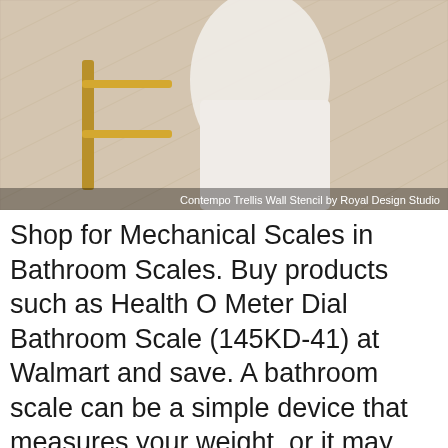[Figure (photo): A person in a white robe in a bathroom with tiled walls and a gold towel bar. Caption reads: Contempo Trellis Wall Stencil by Royal Design Studio.]
Shop for Mechanical Scales in Bathroom Scales. Buy products such as Health O Meter Dial Bathroom Scale (145KD-41) at Walmart and save. A bathroom scale can be a simple device that measures your weight, or it may measure other aspects of your health. Your needs and health concerns should inform your decision in purchasing a bathroom scale for you and your family. Traditional analog scales are generally affordable, though their accuracy doesn't compare to some digital models.